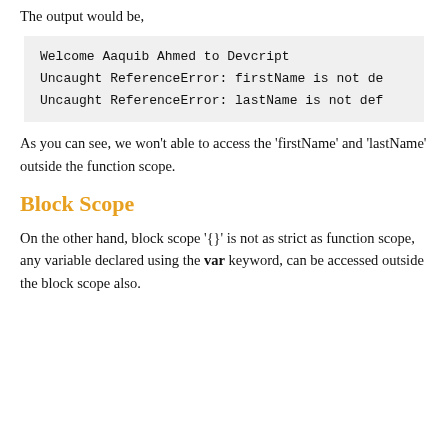The output would be,
Welcome Aaquib Ahmed to Devcript
Uncaught ReferenceError: firstName is not de…
Uncaught ReferenceError: lastName is not def…
As you can see, we won't able to access the 'firstName' and 'lastName' outside the function scope.
Block Scope
On the other hand, block scope '{}' is not as strict as function scope, any variable declared using the var keyword, can be accessed outside the block scope also.